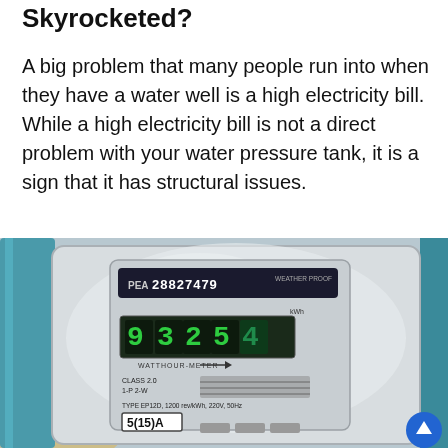Skyrocketed?
A big problem that many people run into when they have a water well is a high electricity bill. While a high electricity bill is not a direct problem with your water pressure tank, it is a sign that it has structural issues.
[Figure (photo): Close-up photograph of an electric watt-hour meter showing display reading 93254, serial number PEA 28827479, CLASS 2.0, 1-P 2-W, TYPE EP12D, 1200 rev/kWh, 220V, 50Hz, 5(15)A]